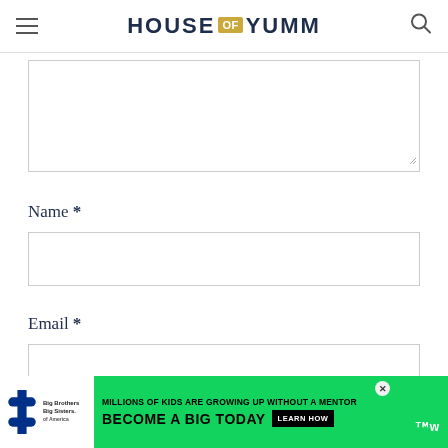HOUSE of YUMM
Name *
Email *
Website
[Figure (screenshot): Ad banner: Big Brothers Big Sisters - MILLIONS OF KIDS ARE GROWING UP WITHOUT A MENTOR. BECOME A BIG TODAY. Learn How]